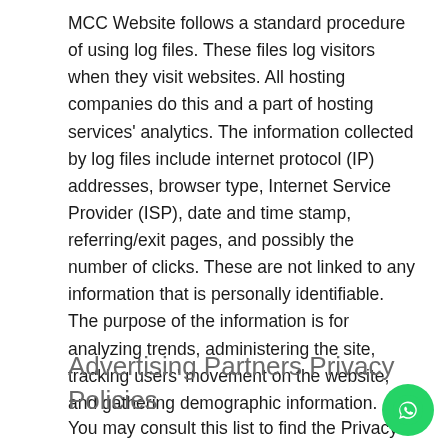MCC Website follows a standard procedure of using log files. These files log visitors when they visit websites. All hosting companies do this and a part of hosting services' analytics. The information collected by log files include internet protocol (IP) addresses, browser type, Internet Service Provider (ISP), date and time stamp, referring/exit pages, and possibly the number of clicks. These are not linked to any information that is personally identifiable. The purpose of the information is for analyzing trends, administering the site, tracking users' movement on the website, and gathering demographic information.
Advertising Partners Privacy Policies
You may consult this list to find the Privacy Policy for each of the advertising partners of MCC Website.